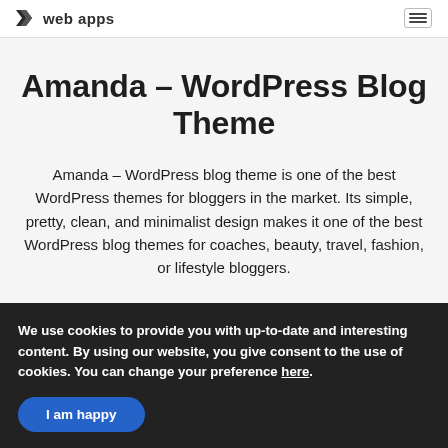web apps
Amanda – WordPress Blog Theme
Amanda – WordPress blog theme is one of the best WordPress themes for bloggers in the market. Its simple, pretty, clean, and minimalist design makes it one of the best WordPress blog themes for coaches, beauty, travel, fashion, or lifestyle bloggers.
We use cookies to provide you with up-to-date and interesting content. By using our website, you give consent to the use of cookies. You can change your preference here.
I am happy